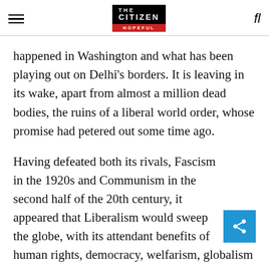The Citizen — Is Hopeful
happened in Washington and what has been playing out on Delhi's borders. It is leaving in its wake, apart from almost a million dead bodies, the ruins of a liberal world order, whose promise had petered out some time ago.
Having defeated both its rivals, Fascism in the 1920s and Communism in the second half of the 20th century, it appeared that Liberalism would sweep the globe, with its attendant benefits of human rights, democracy, welfarism, globalism etc.
Some of this sheen had begun wearing off even before Covid, but the pandemic has now taken us back by a